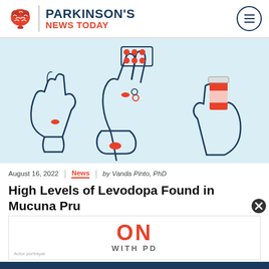PARKINSON'S NEWS TODAY
[Figure (illustration): Three illustrated hands on light blue background: left hand open with a red pill, center hand holding a blister pack of red pills above and dropping red/white pills below, right hand holding a red pill bottle]
August 16, 2022 | News | by Vanda Pinto, PhD
High Levels of Levodopa Found in Mucuna Pru...
[Figure (infographic): Advertisement overlay showing 'ON WITH PD' text with actor portrayal disclaimer]